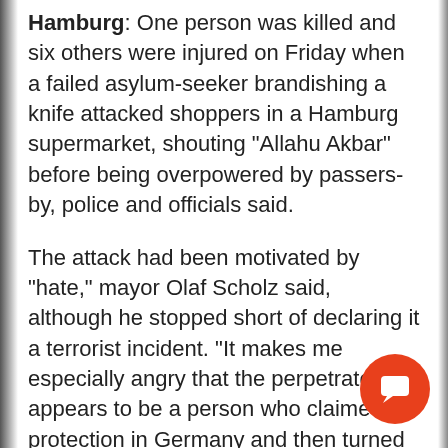Hamburg: One person was killed and six others were injured on Friday when a failed asylum-seeker brandishing a knife attacked shoppers in a Hamburg supermarket, shouting "Allahu Akbar" before being overpowered by passers-by, police and officials said.
The attack had been motivated by "hate," mayor Olaf Scholz said, although he stopped short of declaring it a terrorist incident. "It makes me especially angry that the perpetrator appears to be a person who claimed protection in Germany and then turned his hate against us," he said.
[Figure (other): Orange circular chat/comment button icon in bottom-right corner]